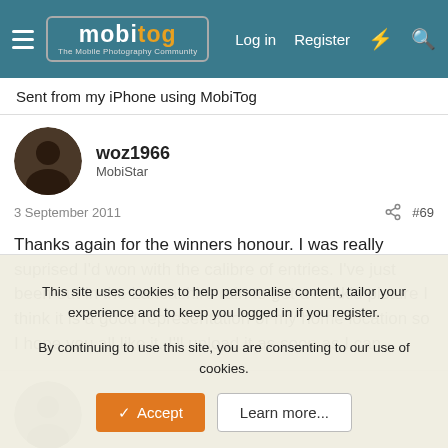mobitog — The Mobile Photography Community | Log in | Register
Sent from my iPhone using MobiTog
woz1966
MobiStar
3 September 2011  #69
Thanks again for the winners honour. I was really suprised I'd won with the calibre of entries. I've just been out in the Lancashire rain to get a nekkid picture I think it is a good representation of my home location so I hope you all like it. I'll upload it as soon as I can.
bnahia
This site uses cookies to help personalise content, tailor your experience and to keep you logged in if you register.
By continuing to use this site, you are consenting to our use of cookies.